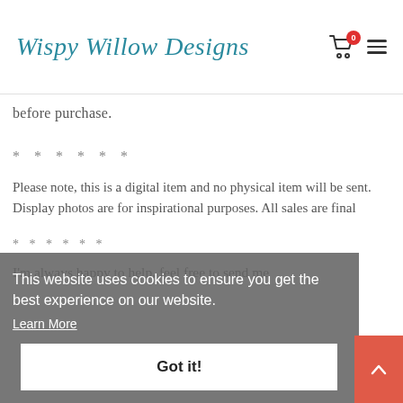Wispy Willow Designs
before purchase.
* * * * * *
Please note, this is a digital item and no physical item will be sent. Display photos are for inspirational purposes. All sales are final
This website uses cookies to ensure you get the best experience on our website.
Learn More
Got it!
* * * * * *
I'm always happy to help, feel free to send me